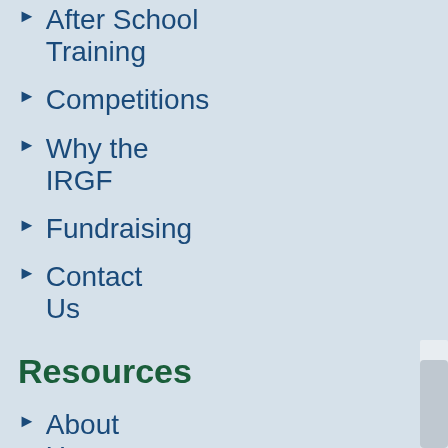After School Training
Competitions
Why the IRGF
Fundraising
Contact Us
Resources
About Us
Donations
Privacy